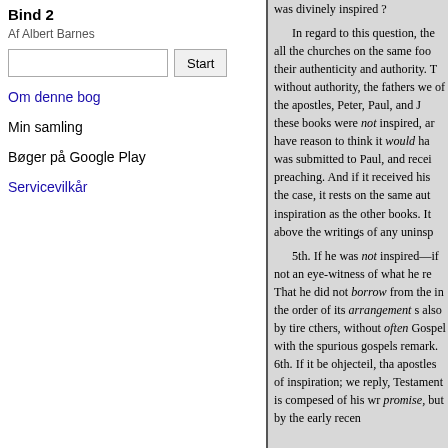Bind 2
Af Albert Barnes
Om denne bog
Min samling
Bøger på Google Play
Servicevilkår
was divinely inspired ? In regard to this question, the all the churches on the same foo their authenticity and authority. T without authority, the fathers we of the apostles, Peter, Paul, and J these books were not inspired, ar have reason to think it would ha was submitted to Paul, and recei preaching. And if it received his the case, it rests on the same aut inspiration as the other books. It above the writings of any uninsp 5th. If he was not inspired—if not an eye-witness of what he re That he did not borrow from the in the order of its arrangement s also by tire cthers, without often Gospel with the spurious gospels remark. 6th. If it be ohjecteil, th apostles of inspiration; we reply, Testament is compesed of his wr promise, but by the early recen